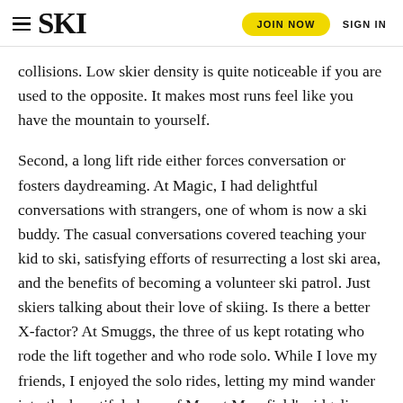SKI | JOIN NOW | SIGN IN
collisions. Low skier density is quite noticeable if you are used to the opposite. It makes most runs feel like you have the mountain to yourself.
Second, a long lift ride either forces conversation or fosters daydreaming. At Magic, I had delightful conversations with strangers, one of whom is now a ski buddy. The casual conversations covered teaching your kid to ski, satisfying efforts of resurrecting a lost ski area, and the benefits of becoming a volunteer ski patrol. Just skiers talking about their love of skiing. Is there a better X-factor? At Smuggs, the three of us kept rotating who rode the lift together and who rode solo. While I love my friends, I enjoyed the solo rides, letting my mind wander into the beautiful abyss of Mount Mansfield’s ridgeline and valley.